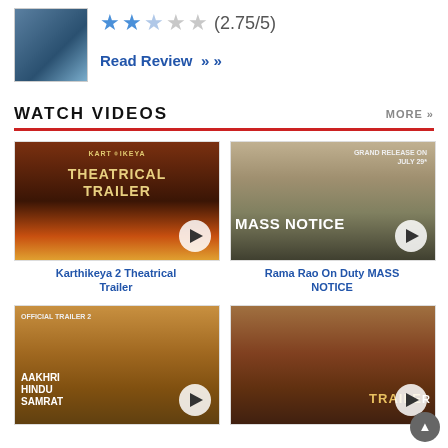[Figure (photo): Movie thumbnail showing two people, one in blue saree]
(2.75/5)
Read Review »
WATCH VIDEOS
MORE »
[Figure (photo): Karthikeya 2 Theatrical Trailer thumbnail with golden imagery and title text]
Karthikeya 2 Theatrical Trailer
[Figure (photo): Rama Rao On Duty MASS NOTICE thumbnail showing man with Grand Release on July 29 text]
Rama Rao On Duty MASS NOTICE
[Figure (photo): Aakhri Hindu Samrat Official Trailer 2 thumbnail with warrior imagery]
[Figure (photo): Sarkaru Vaari Paata trailer thumbnail]